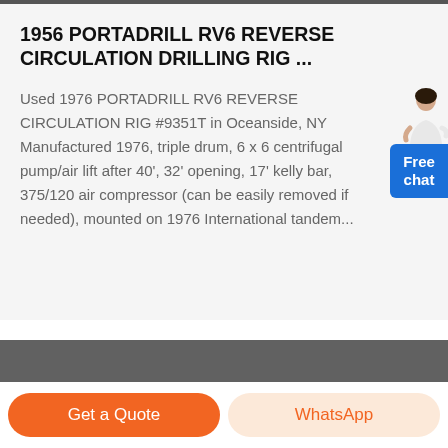1956 PORTADRILL RV6 REVERSE CIRCULATION DRILLING RIG ...
Used 1976 PORTADRILL RV6 REVERSE CIRCULATION RIG #9351T in Oceanside, NY Manufactured 1976, triple drum, 6 x 6 centrifugal pump/air lift after 40', 32' opening, 17' kelly bar, 375/120 air compressor (can be easily removed if needed), mounted on 1976 International tandem...
[Figure (photo): Dark gray section at bottom of page, partially visible product/equipment image]
Get a Quote
WhatsApp